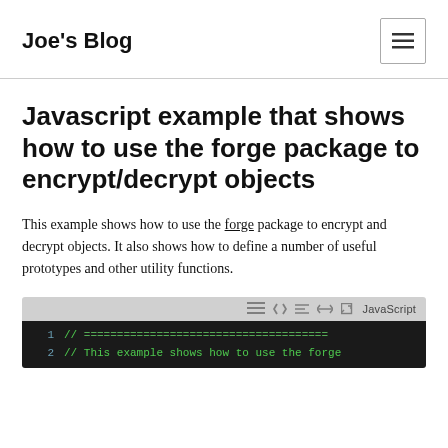Joe's Blog
Javascript example that shows how to use the forge package to encrypt/decrypt objects
This example shows how to use the forge package to encrypt and decrypt objects. It also shows how to define a number of useful prototypes and other utility functions.
[Figure (screenshot): Code editor screenshot showing a JavaScript code block with toolbar icons (menu, code brackets, list, arrows, expand, JavaScript label). Two visible lines: line 1 '// ====...' and line 2 '// This example shows how to use the forge']